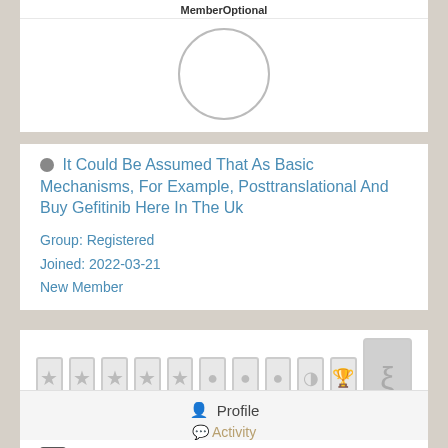MemberOptional
[Figure (photo): Circular profile picture placeholder, white with grey border]
It Could Be Assumed That As Basic Mechanisms, For Example, Posttranslational And Buy Gefitinib Here In The Uk
Group: Registered
Joined: 2022-03-21
New Member
[Figure (infographic): Row of small badge icons (stars and other rank icons) followed by a large grey badge icon with a sigma/rank symbol]
Profile
Activity
About Me